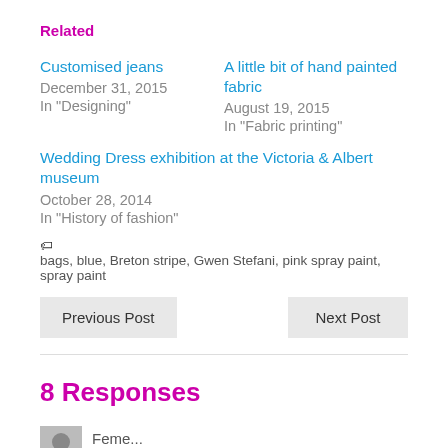Related
Customised jeans
December 31, 2015
In "Designing"
A little bit of hand painted fabric
August 19, 2015
In "Fabric printing"
Wedding Dress exhibition at the Victoria & Albert museum
October 28, 2014
In "History of fashion"
bags, blue, Breton stripe, Gwen Stefani, pink spray paint, spray paint
Previous Post    Next Post
8 Responses
Feme...
November 2, 2014 | Log in to Reply